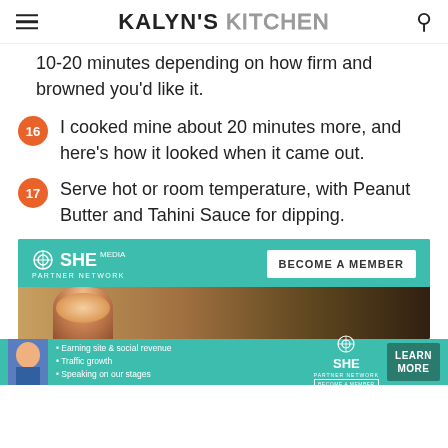KALYN'S KITCHEN
10-20 minutes depending on how firm and browned you'd like it.
16 I cooked mine about 20 minutes more, and here's how it looked when it came out.
17 Serve hot or room temperature, with Peanut Butter and Tahini Sauce for dipping.
[Figure (other): SHE Media Partner Network advertisement banner - teal background with 'BECOME A MEMBER' button and photo of smiling woman with glasses]
[Figure (other): SHE Media Partner Network bottom banner ad with bullet points: Earning site & social revenue, Traffic growth, Speaking on our stages. LEARN MORE button.]